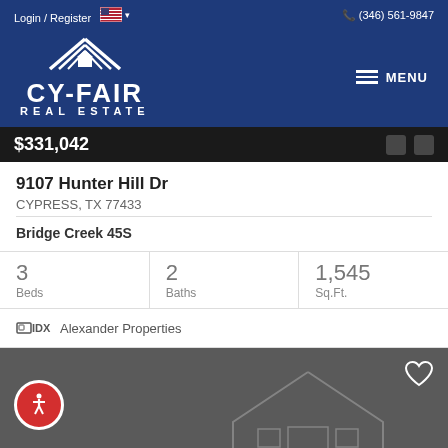Login / Register  (346) 561-9847
[Figure (logo): Cy-Fair Real Estate logo with house/roof icon]
$331,042
9107 Hunter Hill Dr
CYPRESS, TX 77433
Bridge Creek 45S
| Beds | Baths | Sq.Ft. |
| --- | --- | --- |
| 3 | 2 | 1,545 |
IDX  Alexander Properties
[Figure (photo): Dark gray listing card with heart icon and accessibility icon, house outline watermark]